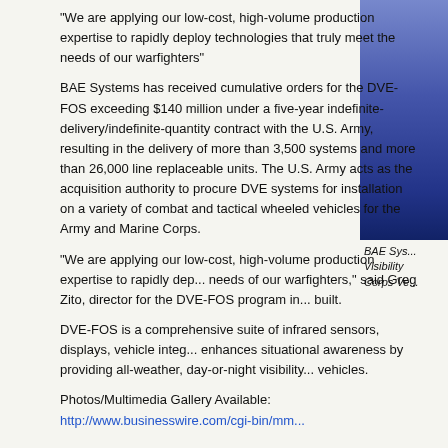“We are applying our low-cost, high-volume production expertise to rapidly deploy technologies that truly meet the needs of our warfighters”
BAE Systems has received cumulative orders for the DVE-FOS exceeding $140 million under a five-year indefinite-delivery/indefinite-quantity contract with the U.S. Army, resulting in the delivery of more than 3,500 systems and more than 26,000 line replaceable units. The U.S. Army acts as the acquisition authority to procure DVE systems for installation on a variety of combat and tactical wheeled vehicles for the Army and Marine Corps.
[Figure (photo): Photo of BAE Systems DVE-FOS equipment, partially visible on right side of page]
BAE Sys... Visibility ... Corps Ve...
“We are applying our low-cost, high-volume production expertise to rapidly dep... needs of our warfighters,” said Greg Zito, director for the DVE-FOS program in... built.
DVE-FOS is a comprehensive suite of infrared sensors, displays, vehicle integ... enhances situational awareness by providing all-weather, day-or-night visibility... vehicles.
Photos/Multimedia Gallery Available: http://www.businesswire.com/cgi-bin/mm...